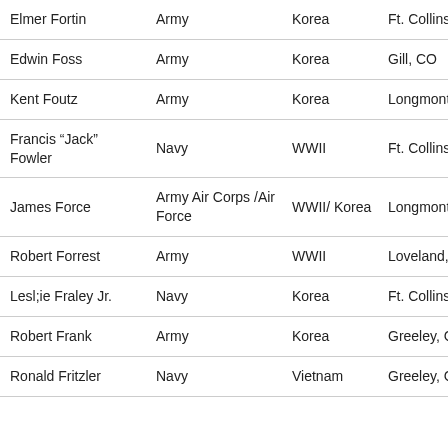| Elmer Fortin | Army | Korea | Ft. Collins, CO |
| Edwin Foss | Army | Korea | Gill, CO |
| Kent Foutz | Army | Korea | Longmont, CO |
| Francis "Jack" Fowler | Navy | WWII | Ft. Collins, CO |
| James Force | Army Air Corps /Air Force | WWII/ Korea | Longmont, CO |
| Robert Forrest | Army | WWII | Loveland, CO |
| Lesl;ie Fraley Jr. | Navy | Korea | Ft. Collins, CO |
| Robert Frank | Army | Korea | Greeley, CO |
| Ronald Fritzler | Navy | Vietnam | Greeley, CO |